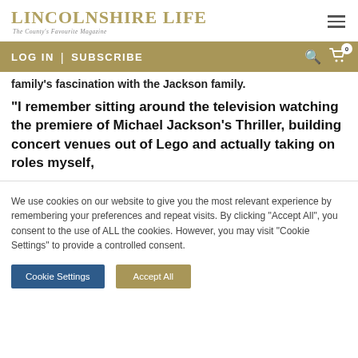LINCOLNSHIRE LIFE — The County's Favourite Magazine
LOG IN  |  SUBSCRIBE
family's fascination with the Jackson family.
“I remember sitting around the television watching the premiere of Michael Jackson’s Thriller, building concert venues out of Lego and actually taking on roles myself,
We use cookies on our website to give you the most relevant experience by remembering your preferences and repeat visits. By clicking "Accept All", you consent to the use of ALL the cookies. However, you may visit "Cookie Settings" to provide a controlled consent.